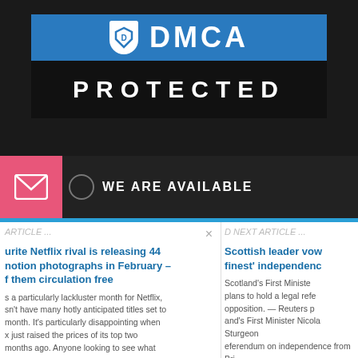[Figure (logo): DMCA Protected badge/logo with blue banner and dark background showing 'DMCA PROTECTED' text]
WE ARE AVAILABLE
×
ARTICLE ...
D NEXT ARTICLE ...
urite Netflix rival is releasing 44 notion photographs in February – f them circulation free
s a particularly lackluster month for Netflix, sn't have many hotly anticipated titles set to month. It's particularly disappointing when x just raised the prices of its top two months ago. Anyone looking to see what
Scottish leader vow finest' independenc
Scotland's First Ministe plans to hold a legal refe opposition. — Reuters p and's First Minister Nicola Sturgeon eferendum on independence from Bri on, as an opinion poll showed a majo ...